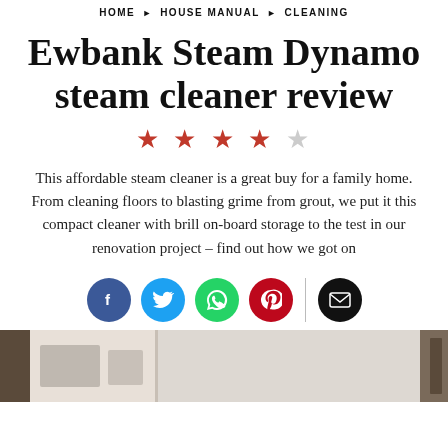HOME ▶ HOUSE MANUAL ▶ CLEANING
Ewbank Steam Dynamo steam cleaner review
★★★★☆
This affordable steam cleaner is a great buy for a family home. From cleaning floors to blasting grime from grout, we put it this compact cleaner with brill on-board storage to the test in our renovation project – find out how we got on
[Figure (infographic): Social sharing buttons: Facebook (blue), Twitter (light blue), WhatsApp (green), Pinterest (red), vertical divider, Email (black)]
[Figure (photo): Partial photo strip at the bottom of the page showing a light interior scene, likely a kitchen or bathroom]